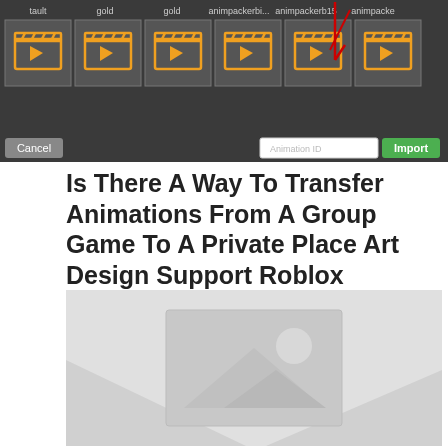[Figure (screenshot): Roblox animation import dialog showing a row of animation thumbnails (orange clapperboard icons) in a dark UI, with a Cancel button, animation ID text field, and green Import button. Red arrow annotation points to the last thumbnail.]
Is There A Way To Transfer Animations From A Group Game To A Private Place Art Design Support Roblox Developer Forum
[Figure (photo): Placeholder image with grey background showing a generic image icon (mountain and sun silhouette)]